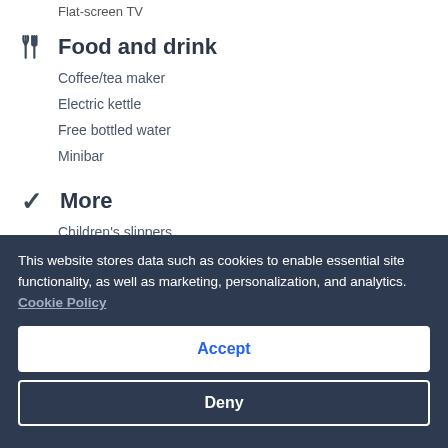Flat-screen TV
Food and drink
Coffee/tea maker
Electric kettle
Free bottled water
Minibar
More
Children's slippers
Guidebooks/recommendations
This website stores data such as cookies to enable essential site functionality, as well as marketing, personalization, and analytics. Cookie Policy
Accept
Deny